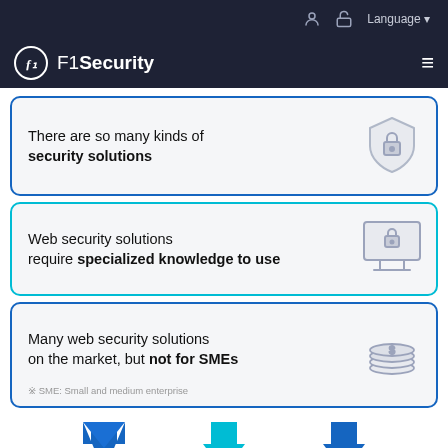F1Security — navigation bar with Language selector
There are so many kinds of security solutions
Web security solutions require specialized knowledge to use
Many web security solutions on the market, but not for SMEs
※ SME: Small and medium enterprise
[Figure (illustration): Three downward-pointing arrows at the bottom: two blue, one teal/cyan in center]